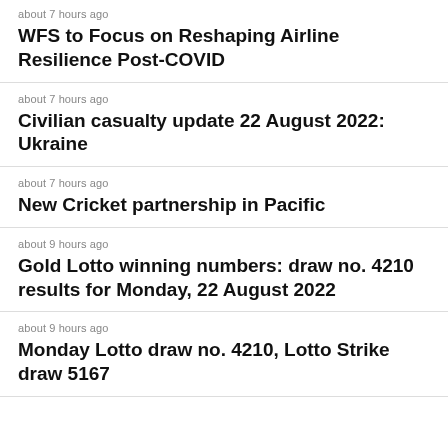about 7 hours ago
WFS to Focus on Reshaping Airline Resilience Post-COVID
about 7 hours ago
Civilian casualty update 22 August 2022: Ukraine
about 7 hours ago
New Cricket partnership in Pacific
about 9 hours ago
Gold Lotto winning numbers: draw no. 4210 results for Monday, 22 August 2022
about 9 hours ago
Monday Lotto draw no. 4210, Lotto Strike draw 5167